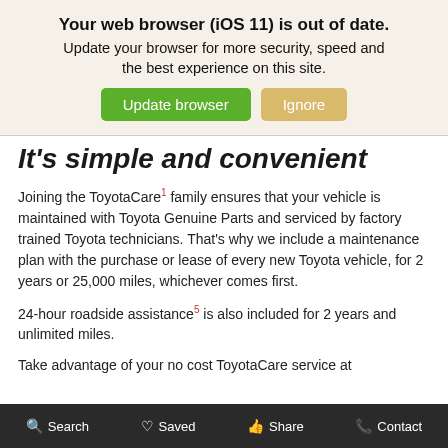Your web browser (iOS 11) is out of date. Update your browser for more security, speed and the best experience on this site.
It's simple and convenient
Joining the ToyotaCare1 family ensures that your vehicle is maintained with Toyota Genuine Parts and serviced by factory trained Toyota technicians. That's why we include a maintenance plan with the purchase or lease of every new Toyota vehicle, for 2 years or 25,000 miles, whichever comes first.
24-hour roadside assistance5 is also included for 2 years and unlimited miles.
Take advantage of your no cost ToyotaCare service at
Search   Saved   Share   Contact